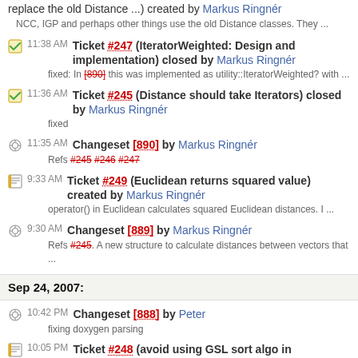replace the old Distance ...) created by Markus Ringnér
NCC, IGP and perhaps other things use the old Distance classes. They ...
11:38 AM Ticket #247 (IteratorWeighted: Design and implementation) closed by Markus Ringnér
fixed: In [890] this was implemented as utility::IteratorWeighted? with ...
11:36 AM Ticket #245 (Distance should take Iterators) closed by Markus Ringnér
fixed
11:35 AM Changeset [890] by Markus Ringnér
Refs #245 #246 #247
9:33 AM Ticket #249 (Euclidean returns squared value) created by Markus Ringnér
operator() in Euclidean calculates squared Euclidean distances. I ...
9:30 AM Changeset [889] by Markus Ringnér
Refs #245. A new structure to calculate distances between vectors that ...
Sep 24, 2007:
10:42 PM Changeset [888] by Peter
fixing doxygen parsing
10:05 PM Ticket #248 (avoid using GSL sort algo in vector::sort) created by Peter
There is a bug in underlying GSL sort (I know GSL people call it a